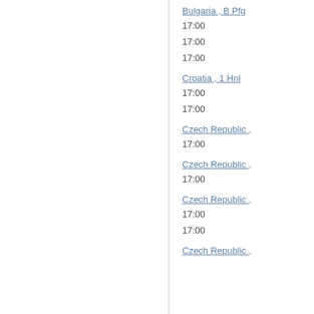Bulgaria , B Pfg
17:00
17:00
17:00
Croatia , 1 Hnl
17:00
17:00
Czech Republic ,
17:00
Czech Republic ,
17:00
Czech Republic ,
17:00
17:00
Czech Republic ,